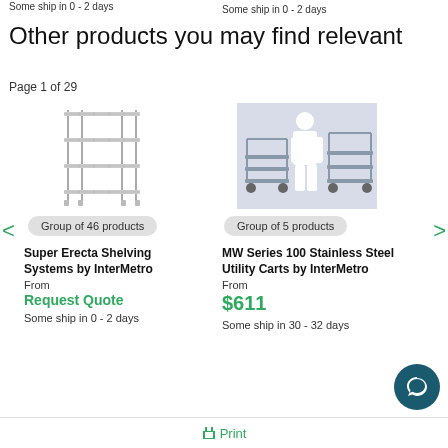Some ship in 0 - 2 days
Some ship in 0 - 2 days
Other products you may find relevant
Page 1 of 29
[Figure (photo): Metal wire shelving unit with 4 tiers]
Group of 46 products
Super Erecta Shelving Systems by InterMetro
From
Request Quote
Some ship in 0 - 2 days
[Figure (photo): Stainless steel utility carts with a person standing between them]
Group of 5 products
MW Series 100 Stainless Steel Utility Carts by InterMetro
From
$611
Some ship in 30 - 32 days
Print